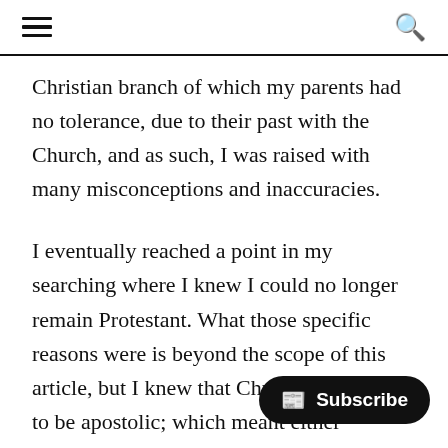[hamburger menu icon] [search icon]
Christian branch of which my parents had no tolerance, due to their past with the Church, and as such, I was raised with many misconceptions and inaccuracies.
I eventually reached a point in my searching where I knew I could no longer remain Protestant. What those specific reasons were is beyond the scope of this article, but I knew that Christ's Church had to be apostolic; which meant either Catholicism, Eastern Orthodoxy, Oriental Orthodoxy, or Assyrian Christianity. Even in that conclusion, I still thought that becoming Catholic was the least likely